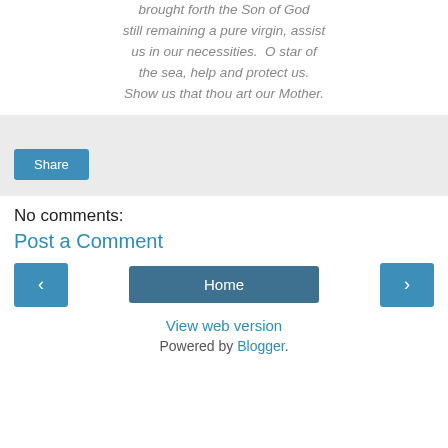Heaven, holy and singular, who brought forth the Son of God still remaining a pure virgin, assist us in our necessities.  O star of the sea, help and protect us. Show us that thou art our Mother.
[Figure (other): Share button widget area with light gray background and a blue Share button]
No comments:
Post a Comment
[Figure (other): Navigation row with left arrow button, Home button, and right arrow button]
View web version
Powered by Blogger.